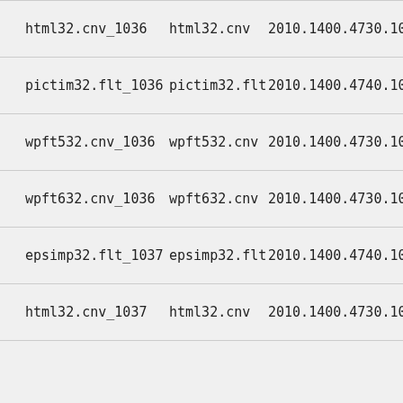| Name | File | Version |  |
| --- | --- | --- | --- |
| html32.cnv_1036 | html32.cnv | 2010.1400.4730.1010 | 3 |
| pictim32.flt_1036 | pictim32.flt | 2010.1400.4740.1000 | 7 |
| wpft532.cnv_1036 | wpft532.cnv | 2010.1400.4730.1010 | 1 |
| wpft632.cnv_1036 | wpft632.cnv | 2010.1400.4730.1010 | 2 |
| epsimp32.flt_1037 | epsimp32.flt | 2010.1400.4740.1000 | 4 |
| html32.cnv_1037 | html32.cnv | 2010.1400.4730.1010 | 3 |